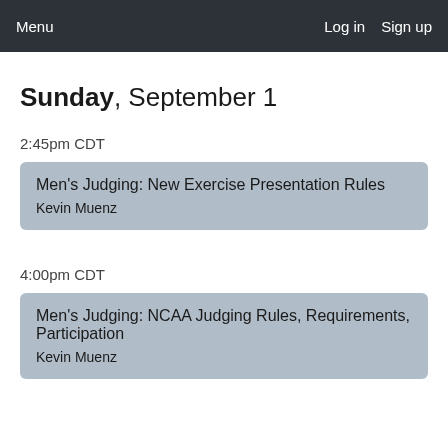Menu  Log in  Sign up
Sunday, September 1
2:45pm CDT
Men's Judging: New Exercise Presentation Rules
Kevin Muenz
4:00pm CDT
Men's Judging: NCAA Judging Rules, Requirements, Participation
Kevin Muenz